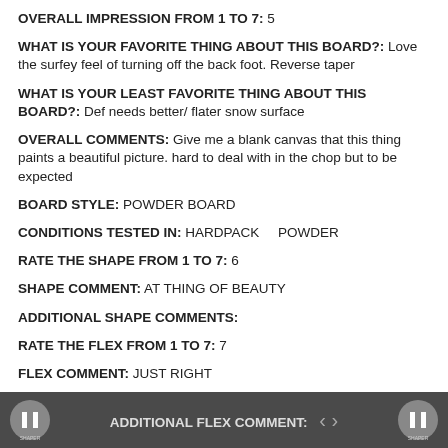OVERALL IMPRESSION FROM 1 TO 7: 5
WHAT IS YOUR FAVORITE THING ABOUT THIS BOARD?: Love the surfey feel of turning off the back foot. Reverse taper
WHAT IS YOUR LEAST FAVORITE THING ABOUT THIS BOARD?: Def needs better/ flater snow surface
OVERALL COMMENTS: Give me a blank canvas that this thing paints a beautiful picture. hard to deal with in the chop but to be expected
BOARD STYLE: POWDER BOARD
CONDITIONS TESTED IN: HARDPACK    POWDER
RATE THE SHAPE FROM 1 TO 7: 6
SHAPE COMMENT: AT THING OF BEAUTY
ADDITIONAL SHAPE COMMENTS:
RATE THE FLEX FROM 1 TO 7: 7
FLEX COMMENT: JUST RIGHT
ADDITIONAL FLEX COMMENT: